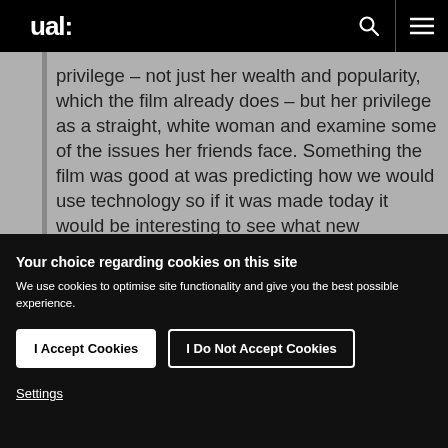ual:
privilege – not just her wealth and popularity, which the film already does – but her privilege as a straight, white woman and examine some of the issues her friends face. Something the film was good at was predicting how we would use technology so if it was made today it would be interesting to see what new predications it might have. In terms of fashion, in recent years there
Your choice regarding cookies on this site
We use cookies to optimise site functionality and give you the best possible experience.
I Accept Cookies
I Do Not Accept Cookies
Settings